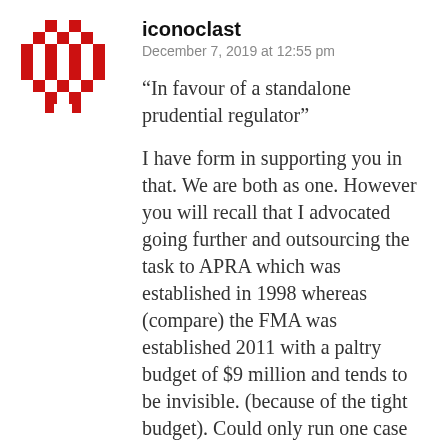[Figure (illustration): Red pixelated/geometric avatar icon with diamond pattern cross shape]
iconoclast
December 7, 2019 at 12:55 pm
“In favour of a standalone prudential regulator”
I have form in supporting you in that. We are both as one. However you will recall that I advocated going further and outsourcing the task to APRA which was established in 1998 whereas (compare) the FMA was established 2011 with a paltry budget of $9 million and tends to be invisible. (because of the tight budget). Could only run one case each